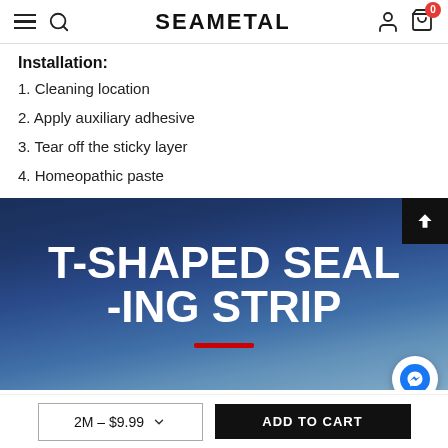SEAMETAL
Installation:
1. Cleaning location
2. Apply auxiliary adhesive
3. Tear off the sticky layer
4. Homeopathic paste
[Figure (photo): Product banner image with dark blue gradient background and white bold text reading 'T-SHAPED SEAL-ING STRIP' with a red underline bar below the text]
2M – $9.99
ADD TO CART